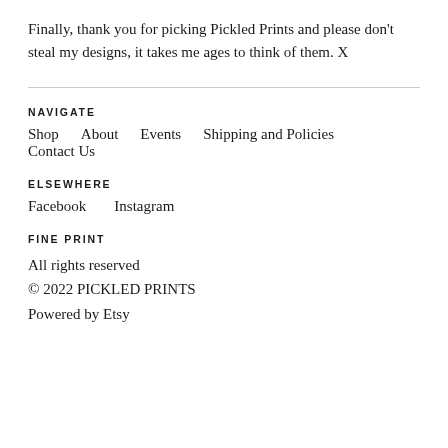Finally, thank you for picking Pickled Prints and please don't steal my designs, it takes me ages to think of them. X
NAVIGATE
Shop    About    Events    Shipping and Policies    Contact Us
ELSEWHERE
Facebook    Instagram
FINE PRINT
All rights reserved
© 2022 PICKLED PRINTS
Powered by Etsy